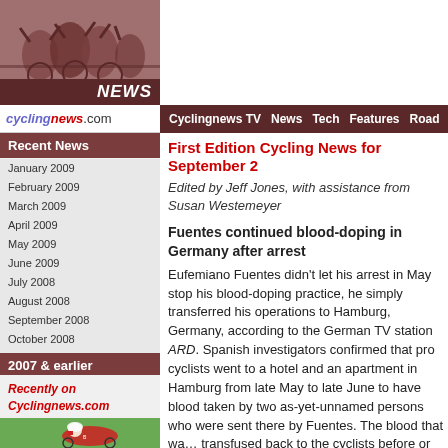[Figure (photo): Cycling news website header with cyclists photo and NEWS banner]
cyclingnews.com
Cyclingnews TV  News  Tech  Features  Road
Recent News
January 2009
February 2009
March 2009
April 2009
May 2009
June 2009
July 2008
August 2008
September 2008
October 2008
November 2008
December 2008
2007 & earlier
Recently on Cyclingnews.com
First Edition Cycling News for September 2
Edited by Jeff Jones, with assistance from Susan Westemeyer
Fuentes continued blood-doping in Germany after arrest
Eufemiano Fuentes didn't let his arrest in May stop his blood-doping practice, he simply transferred his operations to Hamburg, Germany, according to the German TV station ARD. Spanish investigators confirmed that pro cyclists went to a hotel and an apartment in Hamburg from late May to late June to have blood taken by two as-yet-unnamed persons who were sent there by Fuentes. The blood that was transfused back to the cyclists before or during the
The Spanish investigators have a document with h